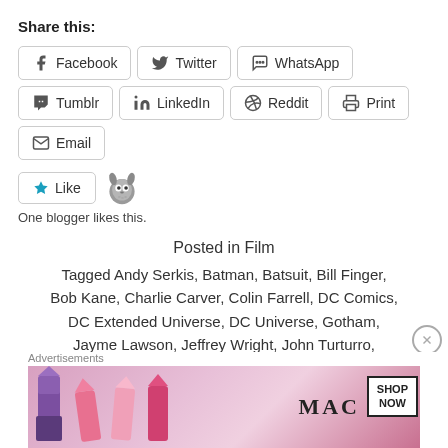Share this:
Facebook  Twitter  WhatsApp  Tumblr  LinkedIn  Reddit  Print  Email
[Figure (other): Like button with star icon and Totoro avatar]
One blogger likes this.
Posted in Film
Tagged Andy Serkis, Batman, Batsuit, Bill Finger, Bob Kane, Charlie Carver, Colin Farrell, DC Comics, DC Extended Universe, DC Universe, Gotham, Jayme Lawson, Jeffrey Wright, John Turturro, Justice League, Matt Reeves, Mattson Tomlin, Max and Charlie Carver, Max Carver, Paul Dano, Peter Sarsgaard, Robert
Advertisements
[Figure (photo): MAC cosmetics advertisement with lipsticks and SHOP NOW button]